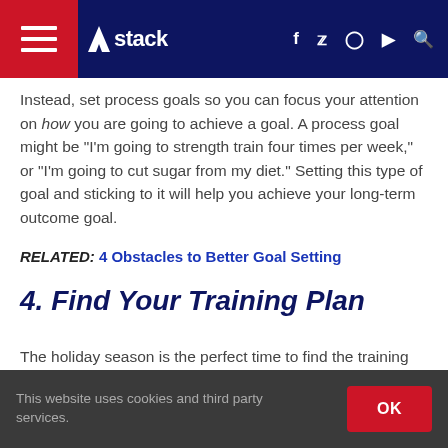stack
Instead, set process goals so you can focus your attention on how you are going to achieve a goal. A process goal might be “I’m going to strength train four times per week,” or “I’m going to cut sugar from my diet.” Setting this type of goal and sticking to it will help you achieve your long-term outcome goal.
RELATED: 4 Obstacles to Better Goal Setting
4. Find Your Training Plan
The holiday season is the perfect time to find the training program you will commit to in the new year. Establishing a
This website uses cookies and third party services.